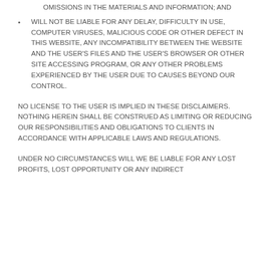OMISSIONS IN THE MATERIALS AND INFORMATION; AND
WILL NOT BE LIABLE FOR ANY DELAY, DIFFICULTY IN USE, COMPUTER VIRUSES, MALICIOUS CODE OR OTHER DEFECT IN THIS WEBSITE, ANY INCOMPATIBILITY BETWEEN THE WEBSITE AND THE USER'S FILES AND THE USER'S BROWSER OR OTHER SITE ACCESSING PROGRAM, OR ANY OTHER PROBLEMS EXPERIENCED BY THE USER DUE TO CAUSES BEYOND OUR CONTROL.
NO LICENSE TO THE USER IS IMPLIED IN THESE DISCLAIMERS. NOTHING HEREIN SHALL BE CONSTRUED AS LIMITING OR REDUCING OUR RESPONSIBILITIES AND OBLIGATIONS TO CLIENTS IN ACCORDANCE WITH APPLICABLE LAWS AND REGULATIONS.
UNDER NO CIRCUMSTANCES WILL WE BE LIABLE FOR ANY LOST PROFITS, LOST OPPORTUNITY OR ANY INDIRECT